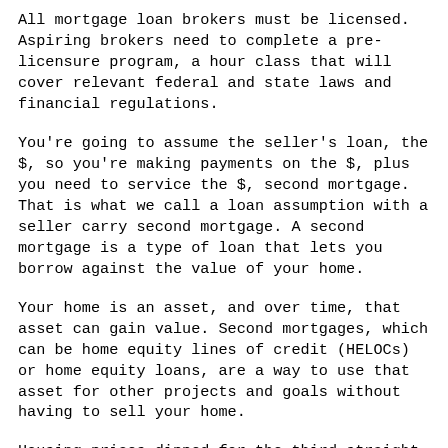All mortgage loan brokers must be licensed. Aspiring brokers need to complete a pre-licensure program, a hour class that will cover relevant federal and state laws and financial regulations.
You're going to assume the seller's loan, the $, so you're making payments on the $, plus you need to service the $, second mortgage. That is what we call a loan assumption with a seller carry second mortgage. A second mortgage is a type of loan that lets you borrow against the value of your home.
Your home is an asset, and over time, that asset can gain value. Second mortgages, which can be home equity lines of credit (HELOCs) or home equity loans, are a way to use that asset for other projects and goals without having to sell your home.
Housing prices dipped for the third straight month in October, and hope for a recovery in has started to fade. According to Corelogic, an industry researcher, million homes, or more than one out of five mortgages in the United States are "underwater" -- i.e.
the total mortgage debt to exceeds the value of the...